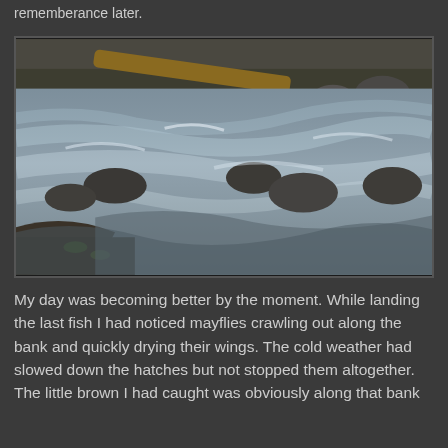rememberance later.
[Figure (photo): Long-exposure photograph of a flowing stream with smooth silky water motion, dark rounded rocks visible in the water, fallen logs and foliage on the bank, taken in cold weather outdoor setting.]
My day was becoming better by the moment.  While landing the last fish I had noticed mayflies crawling out along the bank and quickly drying their wings.  The cold weather had slowed down the hatches but not stopped them altogether.  The little brown I had caught was obviously along that bank